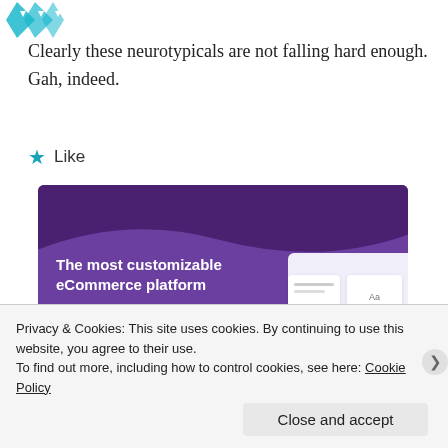[Figure (logo): Teal/cyan logo with diamond arrow shapes at the top of the page]
Clearly these neurotypicals are not falling hard enough. Gah, indeed.
★ Like
[Figure (screenshot): Advertisement banner for an eCommerce platform with purple background. Text reads 'The most customizable eCommerce platform' with a shopping cart icon and a 'Start a new store' button.]
Privacy & Cookies: This site uses cookies. By continuing to use this website, you agree to their use.
To find out more, including how to control cookies, see here: Cookie Policy
Close and accept